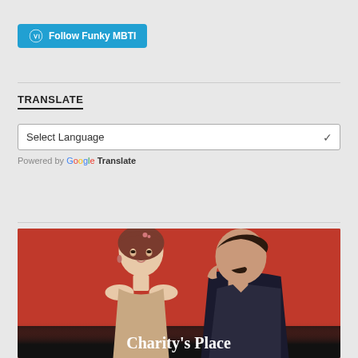[Figure (other): Blue WordPress 'Follow Funky MBTI' button with WordPress logo on the left]
TRANSLATE
[Figure (screenshot): Google Translate widget with 'Select Language' dropdown and 'Powered by Google Translate' text]
[Figure (photo): Book/show cover image of a woman and man on a red background, with text 'Charity's Place' at the bottom]